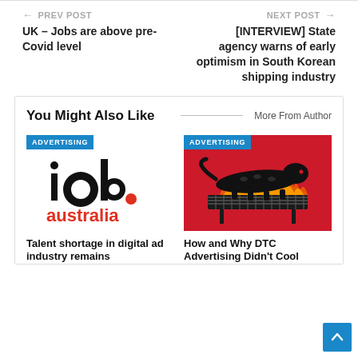← PREV POST
UK – Jobs are above pre-Covid level
NEXT POST →
[INTERVIEW] State agency warns of early optimism in South Korean shipping industry
You Might Also Like
More From Author
[Figure (logo): IAB Australia logo — black 'iab.' text with red dot, red 'australia' text below, on white background with blue ADVERTISING badge]
[Figure (illustration): Red background illustration of a black panther/animal on a BBQ grill with flames, with blue ADVERTISING badge]
Talent shortage in digital ad industry remains
How and Why DTC Advertising Didn't Cool